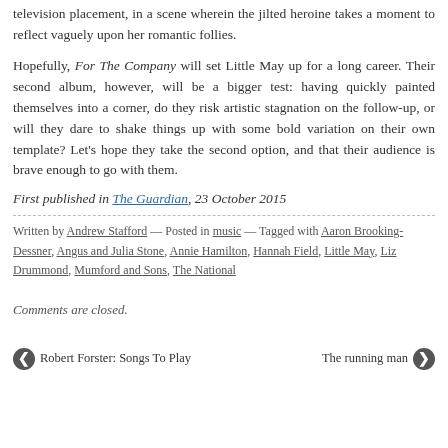television placement, in a scene wherein the jilted heroine takes a moment to reflect vaguely upon her romantic follies.
Hopefully, For The Company will set Little May up for a long career. Their second album, however, will be a bigger test: having quickly painted themselves into a corner, do they risk artistic stagnation on the follow-up, or will they dare to shake things up with some bold variation on their own template? Let’s hope they take the second option, and that their audience is brave enough to go with them.
First published in The Guardian, 23 October 2015
Written by Andrew Stafford — Posted in music — Tagged with Aaron Brooking-Dessner, Angus and Julia Stone, Annie Hamilton, Hannah Field, Little May, Liz Drummond, Mumford and Sons, The National
Comments are closed.
Robert Forster: Songs To Play
The running man